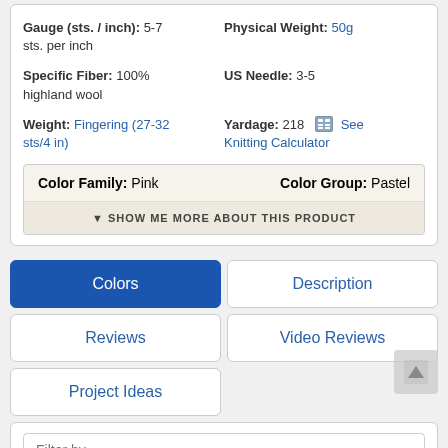Gauge (sts. / inch): 5-7 sts. per inch | Physical Weight: 50g
Specific Fiber: 100% highland wool | US Needle: 3-5
Weight: Fingering (27-32 sts/4 in) | Yardage: 218 See Knitting Calculator
Color Family: Pink | Color Group: Pastel
▼ SHOW ME MORE ABOUT THIS PRODUCT
Colors
Description
Reviews
Video Reviews
Project Ideas
Filter by